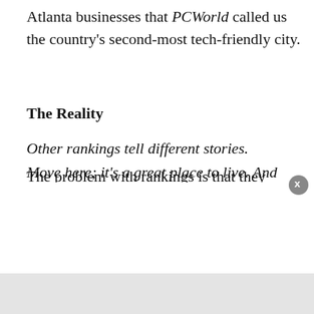Atlanta businesses that PCWorld called us the country's second-most tech-friendly city.
The Reality
Other rankings tell different stories.
The problem with rankings is that they change based on the criteria you use. Atlanta didn't even land in the top twenty-five in a ranking of high-tech startup density, while Cheyenne, Wyoming, was number ten.
The Pitch
Move here; it's a great place to live. And cheap, too!